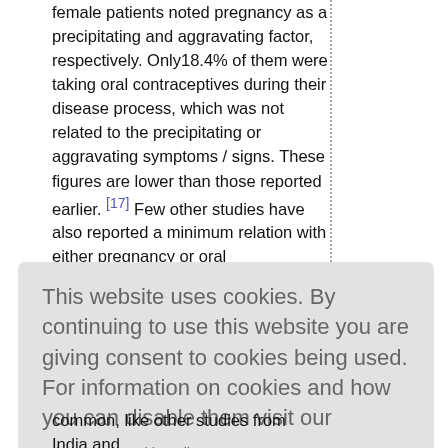female patients noted pregnancy as a precipitating and aggravating factor, respectively. Only18.4% of them were taking oral contraceptives during their disease process, which was not related to the precipitating or aggravating symptoms / signs. These figures are lower than those reported earlier. [17] Few other studies have also reported a minimum relation with either pregnancy or oral contraceptives. [16],[17] It appears that oral contraceptives or even pregnancy may not be a significant
This website uses cookies. By continuing to use this website you are giving consent to cookies being used. For information on cookies and how you can disable them visit our Privacy and Cookie Policy. AGREE & PROCEED
common, like other studies from India and